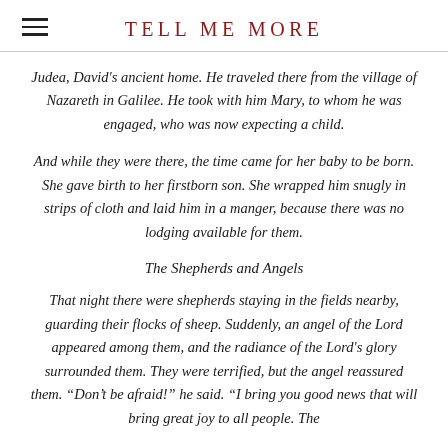TELL ME MORE
Judea, David's ancient home. He traveled there from the village of Nazareth in Galilee. He took with him Mary, to whom he was engaged, who was now expecting a child.
And while they were there, the time came for her baby to be born. She gave birth to her firstborn son. She wrapped him snugly in strips of cloth and laid him in a manger, because there was no lodging available for them.
The Shepherds and Angels
That night there were shepherds staying in the fields nearby, guarding their flocks of sheep. Suddenly, an angel of the Lord appeared among them, and the radiance of the Lord's glory surrounded them. They were terrified, but the angel reassured them. “Don’t be afraid!” he said. “I bring you good news that will bring great joy to all people. The